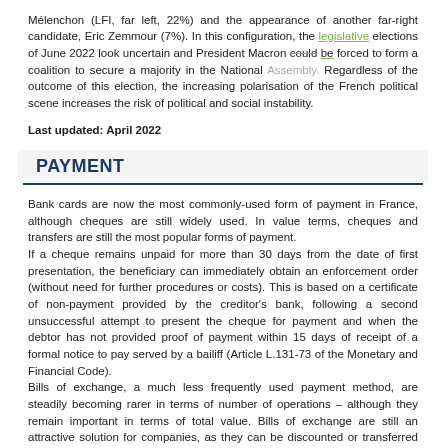Mélenchon (LFI, far left, 22%) and the appearance of another far-right candidate, Eric Zemmour (7%). In this configuration, the legislative elections of June 2022 look uncertain and President Macron could be forced to form a coalition to secure a majority in the National Assembly. Regardless of the outcome of this election, the increasing polarisation of the French political scene increases the risk of political and social instability.
Last updated: April 2022
PAYMENT
Bank cards are now the most commonly-used form of payment in France, although cheques are still widely used. In value terms, cheques and transfers are still the most popular forms of payment.
If a cheque remains unpaid for more than 30 days from the date of first presentation, the beneficiary can immediately obtain an enforcement order (without need for further procedures or costs). This is based on a certificate of non-payment provided by the creditor's bank, following a second unsuccessful attempt to present the cheque for payment and when the debtor has not provided proof of payment within 15 days of receipt of a formal notice to pay served by a bailiff (Article L.131-73 of the Monetary and Financial Code).
Bills of exchange, a much less frequently used payment method, are steadily becoming rarer in terms of number of operations – although they remain important in terms of total value. Bills of exchange are still an attractive solution for companies, as they can be discounted or transferred and therefore provide a valuable source of short-term